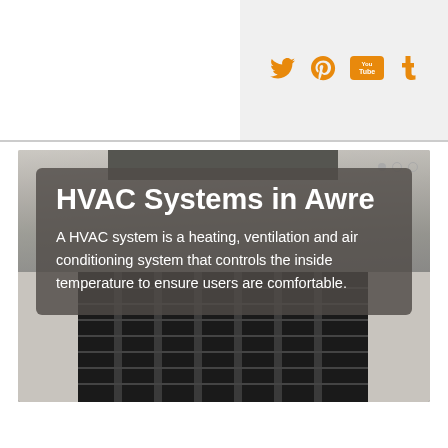[Figure (other): Orange social media icons: Twitter bird, Pinterest P, YouTube logo, Tumblr t — displayed in a light gray header bar on the right side]
[Figure (photo): Hero image of an HVAC unit (industrial floor-standing air conditioning system with dark grille vents) with a semi-transparent dark overlay containing white text: title 'HVAC Systems in Awre' and description paragraph]
HVAC Systems in Awre
A HVAC system is a heating, ventilation and air conditioning system that controls the inside temperature to ensure users are comfortable.